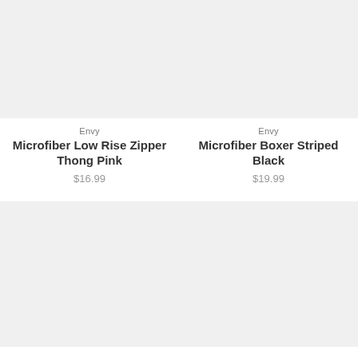[Figure (photo): Product image placeholder - light gray rectangle for Microfiber Low Rise Zipper Thong Pink]
Envy
Microfiber Low Rise Zipper Thong Pink
$16.99
[Figure (photo): Product image placeholder - light gray rectangle for Microfiber Boxer Striped Black]
Envy
Microfiber Boxer Striped Black
$19.99
[Figure (photo): Product image placeholder - light gray rectangle, bottom left product]
[Figure (photo): Product image placeholder - light gray rectangle, bottom right product]